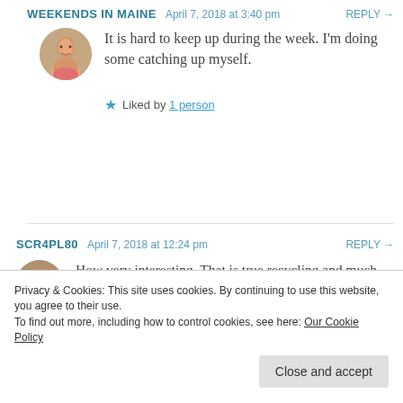WEEKENDS IN MAINE  April 7, 2018 at 3:40 pm  REPLY →
[Figure (photo): Circular avatar photo of a woman smiling, wearing a pink top]
It is hard to keep up during the week. I'm doing some catching up myself.
★ Liked by 1 person
SCR4PL80  April 7, 2018 at 12:24 pm  REPLY →
[Figure (photo): Circular avatar photo of a woman smiling]
How very interesting. That is true recycling and much nicer than leaving them out in the yard for
Privacy & Cookies: This site uses cookies. By continuing to use this website, you agree to their use.
To find out more, including how to control cookies, see here: Our Cookie Policy
Close and accept